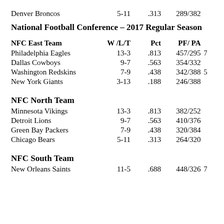| Team | W/L/T | Pct | PF/PA |  |
| --- | --- | --- | --- | --- |
| Denver Broncos | 5-11 | .313 | 289/382 |  |
National Football Conference – 2017 Regular Season
| NFC East Team | W /L/T | Pct | PF/ PA |  |
| --- | --- | --- | --- | --- |
| Philadelphia Eagles | 13-3 | .813 | 457/295 | 7 |
| Dallas Cowboys | 9-7 | .563 | 354/332 |  |
| Washington Redskins | 7-9 | .438 | 342/388 | 5 |
| New York Giants | 3-13 | .188 | 246/388 |  |
NFC North Team
| Minnesota Vikings | 13-3 | .813 | 382/252 |  |
| Detroit Lions | 9-7 | .563 | 410/376 |  |
| Green Bay Packers | 7-9 | .438 | 320/384 |  |
| Chicago Bears | 5-11 | .313 | 264/320 |  |
NFC South Team
| New Orleans Saints | 11-5 | .688 | 448/326 | 7 |